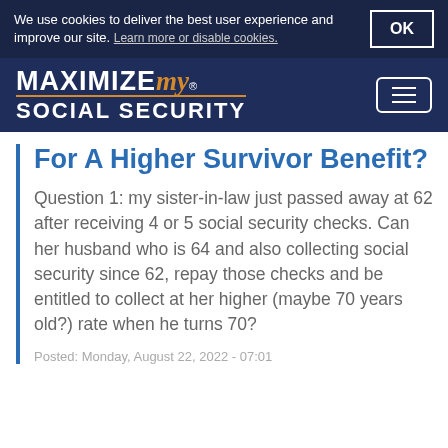We use cookies to deliver the best user experience and improve our site. Learn more or disable cookies. OK
[Figure (logo): Maximize My Social Security logo with navigation menu button]
For A Higher Survivor Benefit?
Question 1: my sister-in-law just passed away at 62 after receiving 4 or 5 social security checks. Can her husband who is 64 and also collecting social security since 62, repay those checks and be entitled to collect at her higher (maybe 70 years old?) rate when he turns 70?
Posted: Monday, August 22, 2022 - 07:01